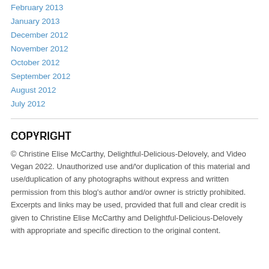February 2013
January 2013
December 2012
November 2012
October 2012
September 2012
August 2012
July 2012
COPYRIGHT
© Christine Elise McCarthy, Delightful-Delicious-Delovely, and Video Vegan 2022. Unauthorized use and/or duplication of this material and use/duplication of any photographs without express and written permission from this blog's author and/or owner is strictly prohibited. Excerpts and links may be used, provided that full and clear credit is given to Christine Elise McCarthy and Delightful-Delicious-Delovely with appropriate and specific direction to the original content.